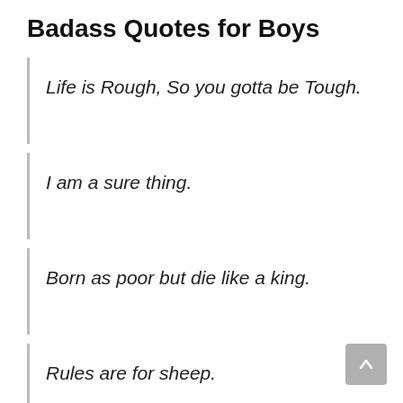Badass Quotes for Boys
Life is Rough, So you gotta be Tough.
I am a sure thing.
Born as poor but die like a king.
Rules are for sheep.